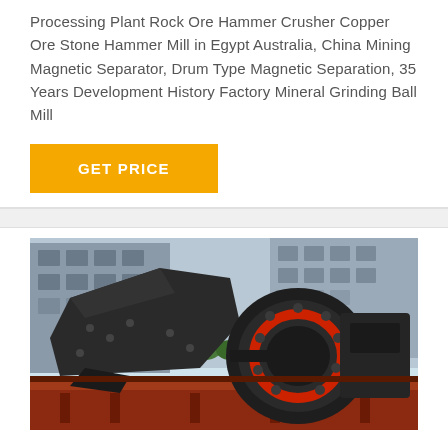Processing Plant Rock Ore Hammer Crusher Copper Ore Stone Hammer Mill in Egypt Australia, China Mining Magnetic Separator, Drum Type Magnetic Separation, 35 Years Development History Factory Mineral Grinding Ball Mill
[Figure (other): Yellow 'GET PRICE' button]
[Figure (photo): Photo of a large industrial hammer crusher / mining machine mounted on a red flatbed truck, with a multi-story building in the background. The machine is dark grey/black with red circular components visible.]